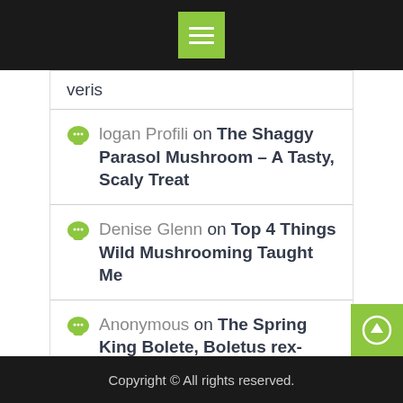[Figure (screenshot): Green hamburger menu button in black top navigation bar]
veris
logan Profili on The Shaggy Parasol Mushroom – A Tasty, Scaly Treat
Denise Glenn on Top 4 Things Wild Mushrooming Taught Me
Anonymous on The Spring King Bolete, Boletus rex-veris
Copyright © All rights reserved.